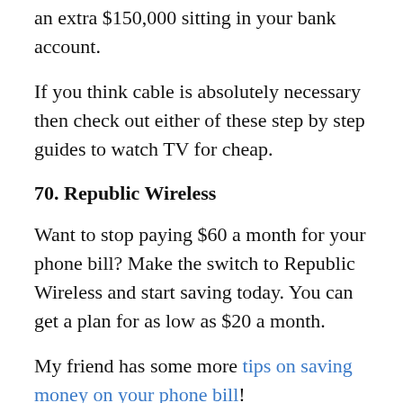an extra $150,000 sitting in your bank account.
If you think cable is absolutely necessary then check out either of these step by step guides to watch TV for cheap.
70. Republic Wireless
Want to stop paying $60 a month for your phone bill? Make the switch to Republic Wireless and start saving today. You can get a plan for as low as $20 a month.
My friend has some more tips on saving money on your phone bill!
Note: My friend and I have never used this...